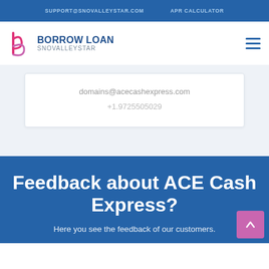SUPPORT@SNOVALLEYSTAR.COM   APR CALCULATOR
[Figure (logo): Borrow Loan Snovalleystar logo with stylized 'b' icon in pink/magenta]
domains@acecashexpress.com
+1.9725505029
Feedback about ACE Cash Express?
Here you see the feedback of our customers.